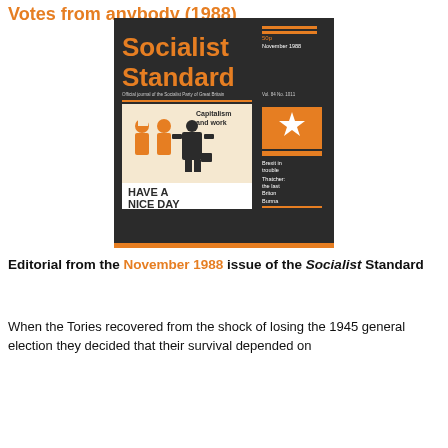Votes from anybody (1988)
[Figure (illustration): Cover of the Socialist Standard magazine, November 1988. Dark background with orange title text reading 'Socialist Standard'. Subtitle reads 'Official journal of the Socialist Party of Great Britain'. Features an illustration of a man in a suit walking away from 1950s-style pin-up figures, carrying a briefcase. Text reads 'Capitalism and work' and 'HAVE A NICE DAY'. Right sidebar lists: Inside, Brexit in trouble, Thatcher: the last Briton, Burma, Accidents at work, Co-ops and capitalism, Ancient class struggle. Orange star logo visible.]
Editorial from the November 1988 issue of the Socialist Standard
When the Tories recovered from the shock of losing the 1945 general election they decided that their survival depended on